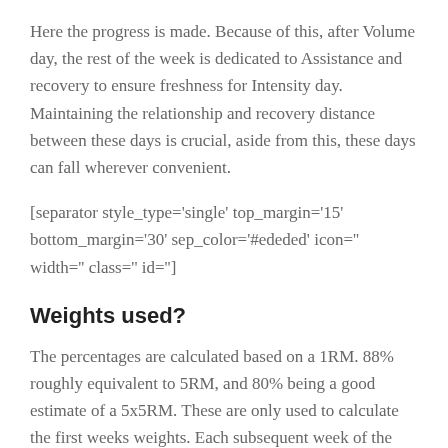Here the progress is made. Because of this, after Volume day, the rest of the week is dedicated to Assistance and recovery to ensure freshness for Intensity day. Maintaining the relationship and recovery distance between these days is crucial, aside from this, these days can fall wherever convenient.
[separator style_type='single' top_margin='15' bottom_margin='30' sep_color='#ededed' icon='' width='' class='' id='']
Weights used?
The percentages are calculated based on a 1RM. 88% roughly equivalent to 5RM, and 80% being a good estimate of a 5x5RM. These are only used to calculate the first weeks weights. Each subsequent week of the program, 2.5kilograms is added to each